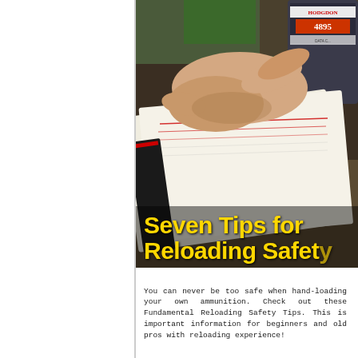[Figure (photo): A person's hand flipping through pages of a reloading manual/data book on a desk, with a Hodgdon IMR 4895 powder canister visible in the background. Bold yellow text overlay reads 'Seven Tips for Reloading Safety']
You can never be too safe when hand-loading your own ammunition. Check out these Fundamental Reloading Safety Tips. This is important information for beginners and old pros with reloading experience!